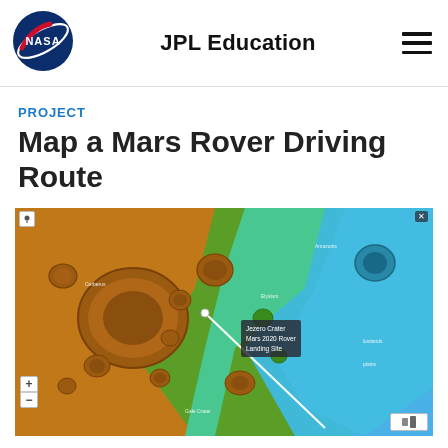[Figure (logo): NASA meatball logo — blue circle with NASA text, red chevron, and white orbital ring]
JPL Education
PROJECT
Map a Mars Rover Driving Route
[Figure (map): Topographic/elevation map of Mars surface showing craters, color-coded terrain from orange/brown (highlands) to green to cyan/blue (lower elevations), with a white line indicating a rover driving route and a small tooltip box near the route.]